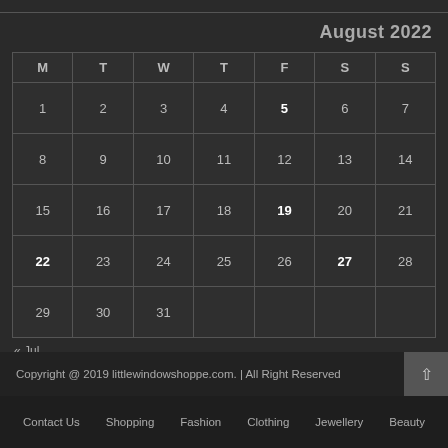August 2022
| M | T | W | T | F | S | S |
| --- | --- | --- | --- | --- | --- | --- |
| 1 | 2 | 3 | 4 | 5 | 6 | 7 |
| 8 | 9 | 10 | 11 | 12 | 13 | 14 |
| 15 | 16 | 17 | 18 | 19 | 20 | 21 |
| 22 | 23 | 24 | 25 | 26 | 27 | 28 |
| 29 | 30 | 31 |  |  |  |  |
« Jul
Copyright @ 2019 littlewindowshoppe.com. | All Right Reserved
Contact Us   Shopping   Fashion   Clothing   Jewellery   Beauty